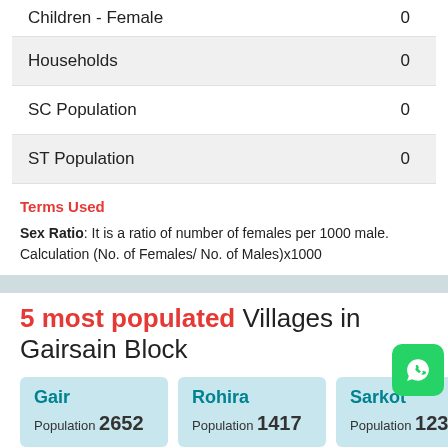| Category | Value |
| --- | --- |
| Children - Female | 0 |
| Households | 0 |
| SC Population | 0 |
| ST Population | 0 |
Terms Used
Sex Ratio: It is a ratio of number of females per 1000 male. Calculation (No. of Females/ No. of Males)x1000
5 most populated Villages in Gairsain Block
Gair Population 2652
Rohira Population 1417
Sarkot Population 1236